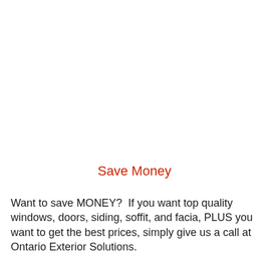Save Money
Want to save MONEY?  If you want top quality windows, doors, siding, soffit, and facia, PLUS you want to get the best prices, simply give us a call at Ontario Exterior Solutions.